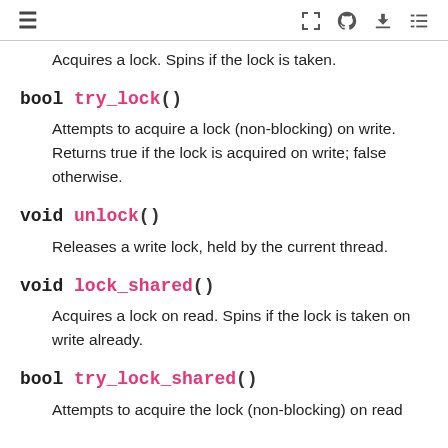≡  [fullscreen] [github] [download] [list]
Acquires a lock. Spins if the lock is taken.
bool try_lock()
Attempts to acquire a lock (non-blocking) on write. Returns true if the lock is acquired on write; false otherwise.
void unlock()
Releases a write lock, held by the current thread.
void lock_shared()
Acquires a lock on read. Spins if the lock is taken on write already.
bool try_lock_shared()
Attempts to acquire the lock (non-blocking) on read